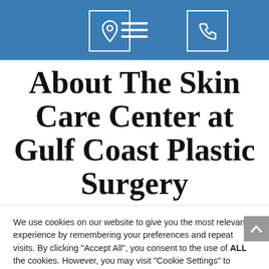Navigation bar with location icon, hamburger menu, and phone icon
About The Skin Care Center at Gulf Coast Plastic Surgery
We use cookies on our website to give you the most relevant experience by remembering your preferences and repeat visits. By clicking "Accept All", you consent to the use of ALL the cookies. However, you may visit "Cookie Settings" to provide a controlled consent.
Cookie Settings | Accept All